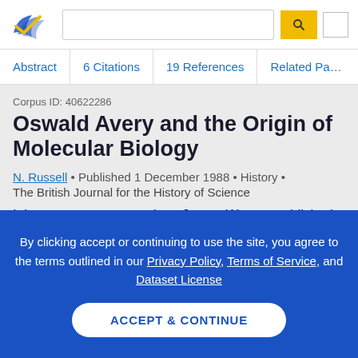Semantic Scholar – search bar and logo header
Abstract | 6 Citations | 19 References | Related Papers
Corpus ID: 40622286
Oswald Avery and the Origin of Molecular Biology
N. Russell • Published 1 December 1988 • History • The British Journal for the History of Science
It is now twenty years since James Watson published
By clicking accept or continuing to use the site, you agree to the terms outlined in our Privacy Policy, Terms of Service, and Dataset License